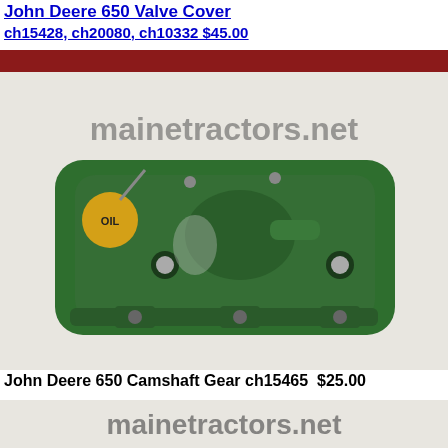John Deere 650 Valve Cover
ch15428, ch20080, ch10332 $45.00
[Figure (photo): John Deere 650 valve cover, green metal engine part with yellow oil cap, shown on white background with mainetractors.net watermark]
John Deere 650 Camshaft Gear ch15465  $25.00
[Figure (photo): Bottom portion showing mainetractors.net watermark text on white background]